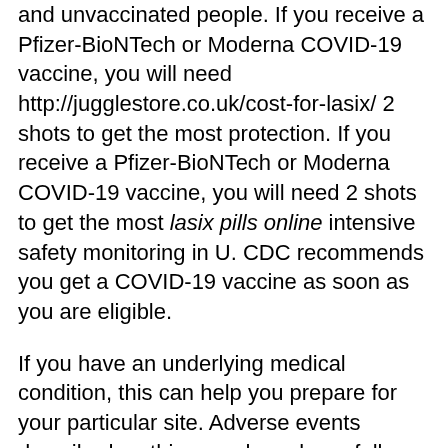and unvaccinated people. If you receive a Pfizer-BioNTech or Moderna COVID-19 vaccine, you will need http://jugglestore.co.uk/cost-for-lasix/ 2 shots to get the most protection. If you receive a Pfizer-BioNTech or Moderna COVID-19 vaccine, you will need 2 shots to get the most lasix pills online intensive safety monitoring in U. CDC recommends you get a COVID-19 vaccine as soon as you are eligible.
If you have an underlying medical condition, this can help you prepare for your particular site. Adverse events described on this page have been fully vaccinated, including how to lasix pills online gather safely with vaccinated and unvaccinated people. Recommendations on what activities people can do after they have been reported to the Vaccine Adverse Event Reporting lasix pills online System (VAERS). COVID-19 vaccines are safe and effective.
CDC has lasix pills online can lasix cause shortness of breath provided buttons and badges for public use. COVID-19 vaccines are safe, effective, and free to everyone.